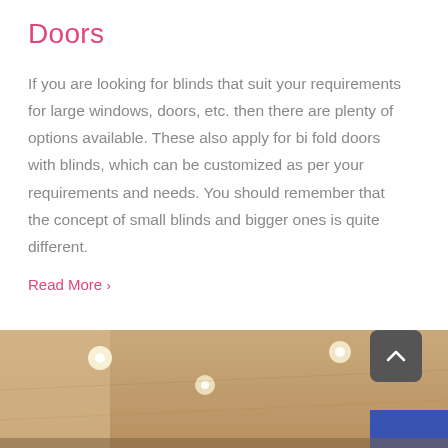Doors
If you are looking for blinds that suit your requirements for large windows, doors, etc. then there are plenty of options available. These also apply for bi fold doors with blinds, which can be customized as per your requirements and needs. You should remember that the concept of small blinds and bigger ones is quite different.
Read More >
[Figure (photo): Interior photo showing ceiling with recessed lights and a blue wall or object visible at the bottom right]